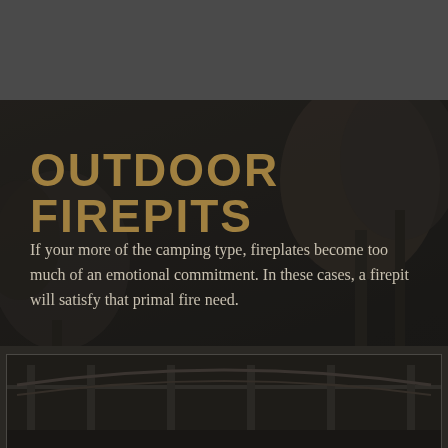[Figure (photo): Dark outdoor patio/camping scene with tree silhouettes and fire pit area, serving as background image]
OUTDOOR FIREPITS
If your more of the camping type, fireplates become too much of an emotional commitment. In these cases, a firepit will satisfy that primal fire need.
[Figure (photo): Bottom strip showing an outdoor structure or pergola/gazebo silhouette]